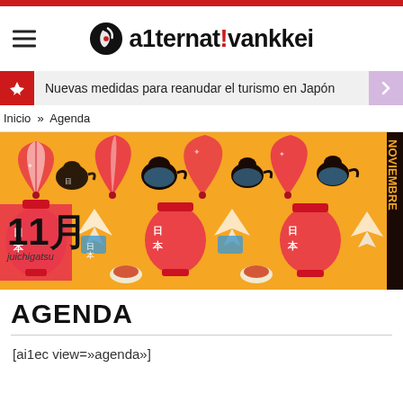alternativankkei
Nuevas medidas para reanudar el turismo en Japón
Inicio » Agenda
[Figure (illustration): Japanese themed banner with lanterns, fans, teapots on yellow/orange background. Shows '11月 juichigatsu' and 'NOVIEMBRE' text.]
AGENDA
[ai1ec view=»agenda»]